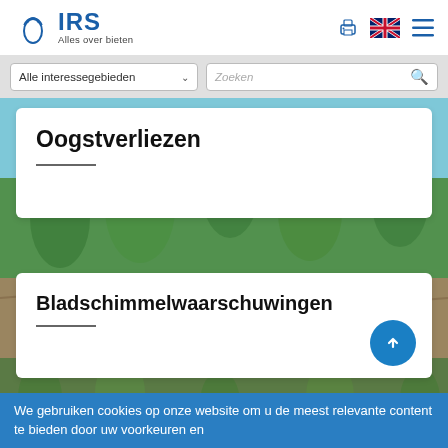IRS — Alles over bieten
Alle interessegebieden | Zoeken
Oogstverliezen
Bladschimmelwaarschuwingen
We gebruiken cookies op onze website om u de meest relevante content te bieden door uw voorkeuren en